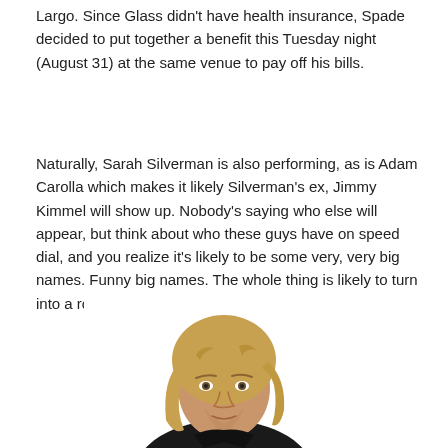Largo. Since Glass didn't have health insurance, Spade decided to put together a benefit this Tuesday night (August 31) at the same venue to pay off his bills.
Naturally, Sarah Silverman is also performing, as is Adam Carolla which makes it likely Silverman's ex, Jimmy Kimmel will show up. Nobody's saying who else will appear, but think about who these guys have on speed dial, and you realize it's likely to be some very, very big names. Funny big names. The whole thing is likely to turn into a roast. If we're lucky.
[Figure (photo): Photo of a man with medium-length blonde hair wearing a black shirt, facing the camera with a neutral expression, white background.]